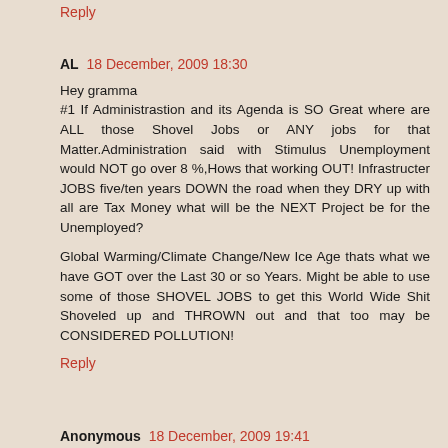Reply
AL  18 December, 2009 18:30
Hey gramma
#1 If Administrastion and its Agenda is SO Great where are ALL those Shovel Jobs or ANY jobs for that Matter.Administration said with Stimulus Unemployment would NOT go over 8 %,Hows that working OUT! Infrastructer JOBS five/ten years DOWN the road when they DRY up with all are Tax Money what will be the NEXT Project be for the Unemployed?
Global Warming/Climate Change/New Ice Age thats what we have GOT over the Last 30 or so Years. Might be able to use some of those SHOVEL JOBS to get this World Wide Shit Shoveled up and THROWN out and that too may be CONSIDERED POLLUTION!
Reply
Anonymous  18 December, 2009 19:41